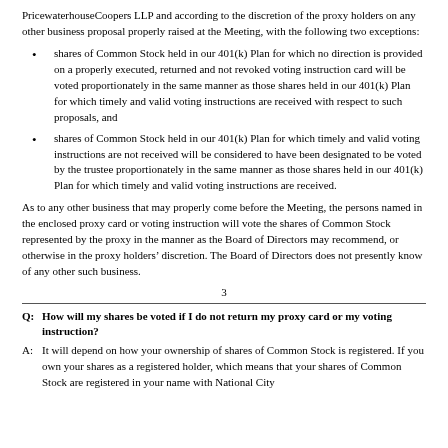PricewaterhouseCoopers LLP and according to the discretion of the proxy holders on any other business proposal properly raised at the Meeting, with the following two exceptions:
shares of Common Stock held in our 401(k) Plan for which no direction is provided on a properly executed, returned and not revoked voting instruction card will be voted proportionately in the same manner as those shares held in our 401(k) Plan for which timely and valid voting instructions are received with respect to such proposals, and
shares of Common Stock held in our 401(k) Plan for which timely and valid voting instructions are not received will be considered to have been designated to be voted by the trustee proportionately in the same manner as those shares held in our 401(k) Plan for which timely and valid voting instructions are received.
As to any other business that may properly come before the Meeting, the persons named in the enclosed proxy card or voting instruction will vote the shares of Common Stock represented by the proxy in the manner as the Board of Directors may recommend, or otherwise in the proxy holders’ discretion. The Board of Directors does not presently know of any other such business.
3
Q: How will my shares be voted if I do not return my proxy card or my voting instruction?
A: It will depend on how your ownership of shares of Common Stock is registered. If you own your shares as a registered holder, which means that your shares of Common Stock are registered in your name with National City